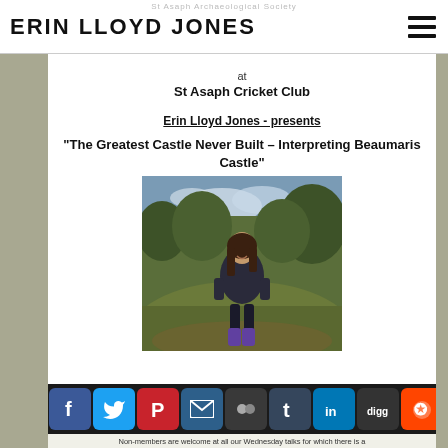ERIN LLOYD JONES
at
St Asaph Cricket Club
Erin Lloyd Jones - presents
“The Greatest Castle Never Built – Interpreting Beaumaris Castle”
[Figure (photo): Woman with long dark hair sitting on a grassy hillside among trees, wearing dark jacket and purple boots, smiling at camera]
[Figure (infographic): Social media sharing icons bar: Facebook (blue), Twitter (blue), Pinterest (red), Email (dark blue), Myspace (dark), Tumblr (dark blue), LinkedIn (blue), Digg (dark), Reddit (orange), More (+) (blue)]
Non-members are welcome at all our Wednesday talks for which there is a